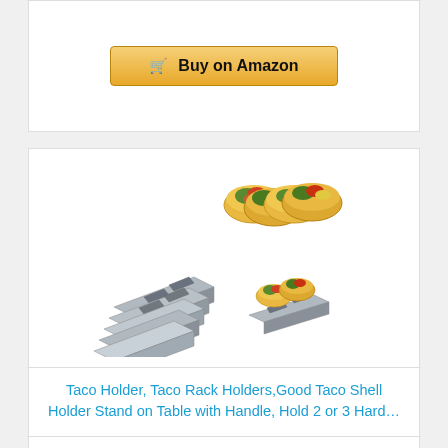[Figure (other): Buy on Amazon button (top card)]
[Figure (photo): Product photo of taco holder rack set — stainless steel taco shell holders with tacos loaded, multiple units shown stacked diagonally]
Taco Holder, Taco Rack Holders,Good Taco Shell Holder Stand on Table with Handle, Hold 2 or 3 Hard…
Price
[Figure (other): Buy on Amazon button (bottom card)]